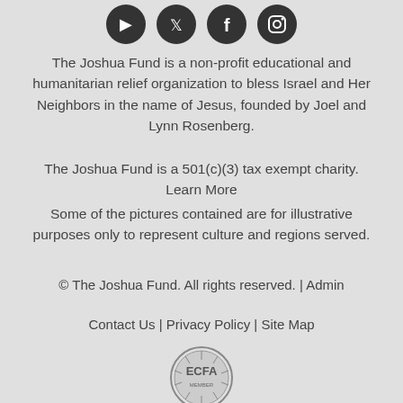[Figure (illustration): Four circular social media icons (YouTube, Twitter, Facebook, Instagram) in dark/black color at the top of the page]
The Joshua Fund is a non-profit educational and humanitarian relief organization to bless Israel and Her Neighbors in the name of Jesus, founded by Joel and Lynn Rosenberg.
The Joshua Fund is a 501(c)(3) tax exempt charity. Learn More
Some of the pictures contained are for illustrative purposes only to represent culture and regions served.
© The Joshua Fund. All rights reserved. | Admin
Contact Us | Privacy Policy | Site Map
[Figure (logo): ECFA Member circular badge/seal logo in gray tones]